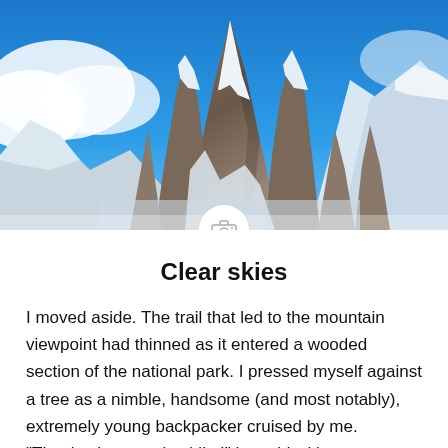[Figure (photo): Mountain landscape with sharp rocky snow-capped peaks against a bright blue sky with some clouds, Patagonia style scenery]
Clear skies
I moved aside. The trail that led to the mountain viewpoint had thinned as it entered a wooded section of the national park. I pressed myself against a tree as a nimble, handsome (and most notably), extremely young backpacker cruised by me. "Thanks, have a nice hike!" he said with an Australian accent, his smile